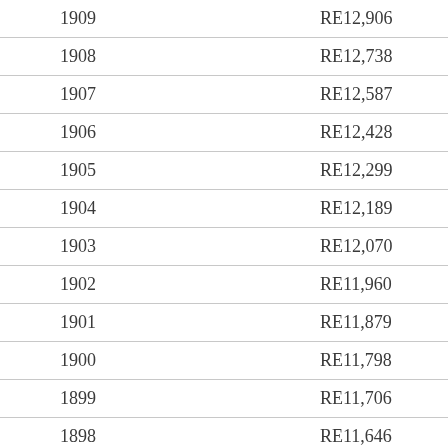| Year | Reference |
| --- | --- |
| 1909 | RE12,906 |
| 1908 | RE12,738 |
| 1907 | RE12,587 |
| 1906 | RE12,428 |
| 1905 | RE12,299 |
| 1904 | RE12,189 |
| 1903 | RE12,070 |
| 1902 | RE11,960 |
| 1901 | RE11,879 |
| 1900 | RE11,798 |
| 1899 | RE11,706 |
| 1898 | RE11,646 |
| 1897 | RE11,581 |